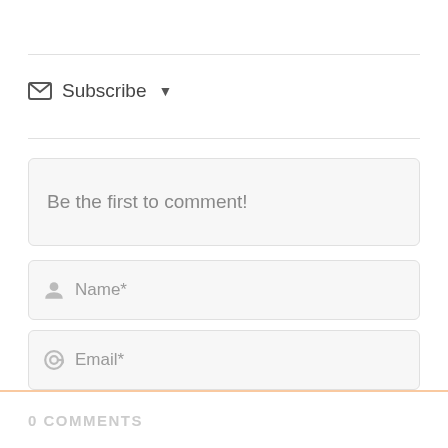Subscribe ▼
Be the first to comment!
Name*
Email*
Post Comment
0 COMMENTS